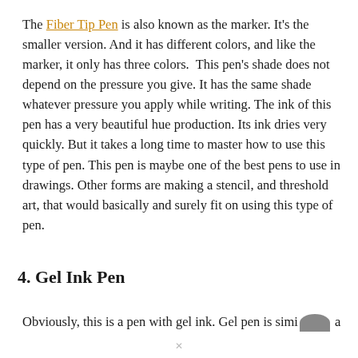The Fiber Tip Pen is also known as the marker. It's the smaller version. And it has different colors, and like the marker, it only has three colors.  This pen's shade does not depend on the pressure you give. It has the same shade whatever pressure you apply while writing. The ink of this pen has a very beautiful hue production. Its ink dries very quickly. But it takes a long time to master how to use this type of pen. This pen is maybe one of the best pens to use in drawings. Other forms are making a stencil, and threshold art, that would basically and surely fit on using this type of pen.
4. Gel Ink Pen
Obviously, this is a pen with gel ink. Gel pen is simi… a